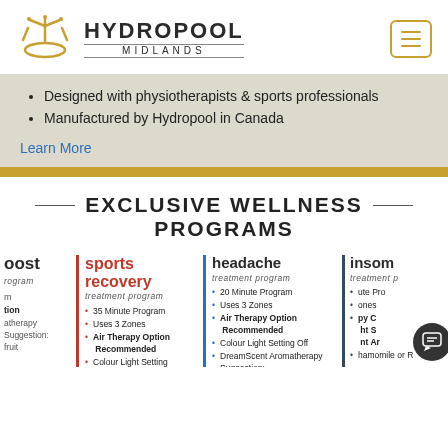HYDROPOOL MIDLANDS
Designed with physiotherapists & sports professionals
Manufactured by Hydropool in Canada
Learn More
EXCLUSIVE WELLNESS PROGRAMS
boost
treatment program
sports recovery
treatment program
• 35 Minute Program
• Uses 3 Zones
• Air Therapy Option Recommended
• Colour Light Setting Circulate Through All Colours
headache
treatment program
• 20 Minute Program
• Uses 3 Zones
• Air Therapy Option Recommended
• Colour Light Setting Off
• DreamScent Aromatherapy Suggestion: Ylang Ylang or Tangerine
insomnia
treatment program